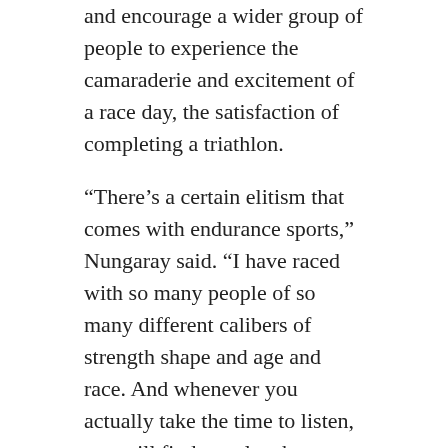and encourage a wider group of people to experience the camaraderie and excitement of a race day, the satisfaction of completing a triathlon.
“There’s a certain elitism that comes with endurance sports,” Nungaray said. “I have raced with so many people of so many different calibers of strength shape and age and race. And whenever you actually take the time to listen, you still find people who … feel like they don’t belong …”
With a packed schedule and loads of determination, Say Maybe has already raised $5,000 this year for organizations including the Montrose Center, which offers programs and services for LGBTQ+ individuals and their families in Houston, TX; and Summer Bluefish, a program that provides free swim lessons to underserved youth. They are in talks with Jersey-City-based Hudson Pride Center to make a donation